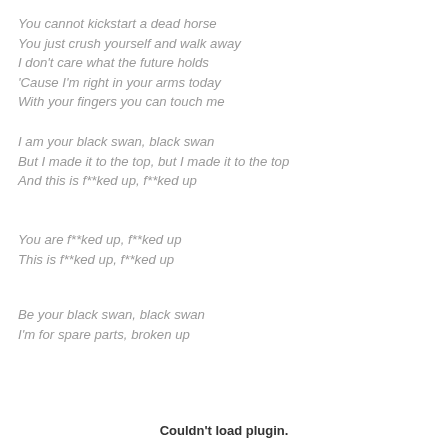You cannot kickstart a dead horse
You just crush yourself and walk away
I don't care what the future holds
'Cause I'm right in your arms today
With your fingers you can touch me
I am your black swan, black swan
But I made it to the top, but I made it to the top
And this is f**ked up, f**ked up
You are f**ked up, f**ked up
This is f**ked up, f**ked up
Be your black swan, black swan
I'm for spare parts, broken up
Couldn't load plugin.